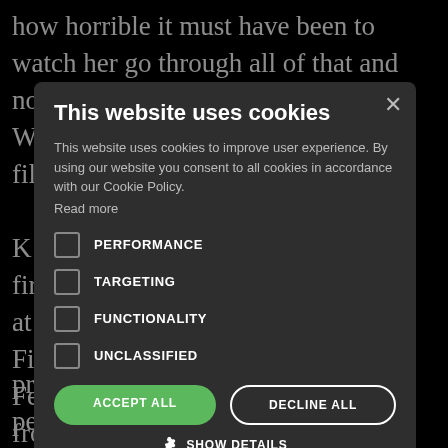how horrible it must have been to watch her go through all of that and not come out the other side. W… the film?
K… was first shown at… ary Film Fe… nse from the au… hina as well, in B… eer festival in B… t engaged in th… mmunity, if you ar… the story but yo… der person fe… ction they co… an really present personal moments and the personal life of
[Figure (screenshot): Cookie consent modal dialog with title 'This website uses cookies', description text, checkboxes for PERFORMANCE, TARGETING, FUNCTIONALITY, UNCLASSIFIED, ACCEPT ALL and DECLINE ALL buttons, and SHOW DETAILS option with gear icon. Close X button in top right.]